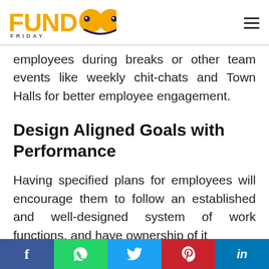FUNDOO FRIDAY
employees during breaks or other team events like weekly chit-chats and Town Halls for better employee engagement.
Design Aligned Goals with Performance
Having specified plans for employees will encourage them to follow an established and well-designed system of work functions, and have ownership of it
f  [WhatsApp]  [Twitter]  p  in